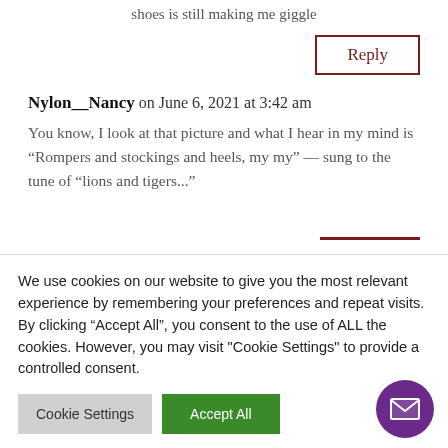way you set up the stockings and shoes is still making me giggle
Reply
Nylon__Nancy on June 6, 2021 at 3:42 am
You know, I look at that picture and what I hear in my mind is “Rompers and stockings and heels, my my” — sung to the tune of “lions and tigers...”
We use cookies on our website to give you the most relevant experience by remembering your preferences and repeat visits. By clicking “Accept All”, you consent to the use of ALL the cookies. However, you may visit "Cookie Settings" to provide a controlled consent.
Cookie Settings
Accept All